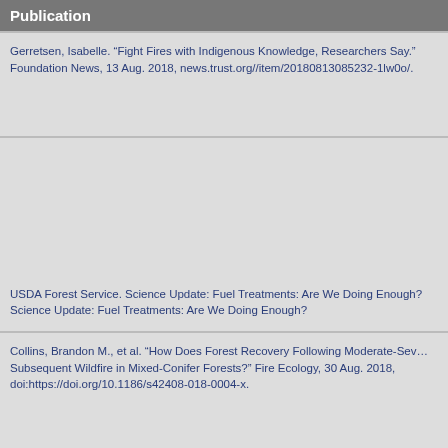Publication
Gerretsen, Isabelle. “Fight Fires with Indigenous Knowledge, Researchers Say.” Foundation News, 13 Aug. 2018, news.trust.org//item/20180813085232-1lw0o/.
USDA Forest Service. Science Update: Fuel Treatments: Are We Doing Enough? Science Update: Fuel Treatments: Are We Doing Enough?
Collins, Brandon M., et al. “How Does Forest Recovery Following Moderate-Severity Fire Influence Subsequent Wildfire in Mixed-Conifer Forests?” Fire Ecology, 30 Aug. 2018, doi:https://doi.org/10.1186/s42408-018-0004-x.
« first ‹ previous … 33 34